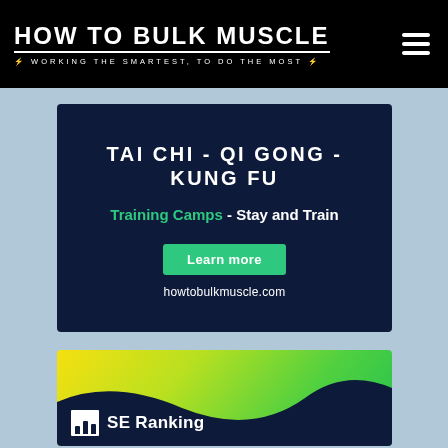HOW TO BULK MUSCLE — WORKING THE SMARTEST, TO DO THE MOST
[Figure (screenshot): Advertisement banner for Tai Chi, Qi Gong, Kung Fu training camps with 'Learn more' button and howtobulkmuscle.com URL]
[Figure (screenshot): SE Ranking advertisement banner with yellow-to-green gradient background and SE Ranking logo and text]